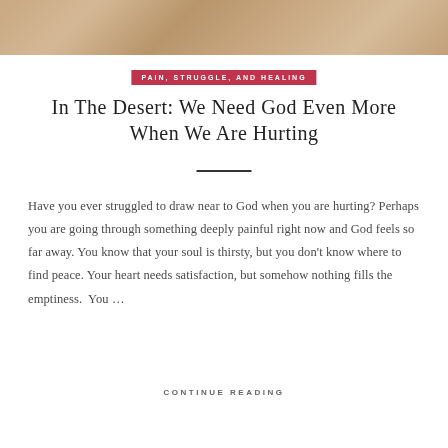[Figure (photo): Desert landscape photo — sandy stone texture in warm beige and brown tones]
PAIN, STRUGGLE, AND HEALING
In The Desert: We Need God Even More When We Are Hurting
Have you ever struggled to draw near to God when you are hurting? Perhaps you are going through something deeply painful right now and God feels so far away. You know that your soul is thirsty, but you don't know where to find peace. Your heart needs satisfaction, but somehow nothing fills the emptiness.  You …
CONTINUE READING